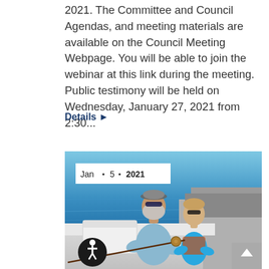2021. The Committee and Council Agendas, and meeting materials are available on the Council Meeting Webpage. You will be able to join the webinar at this link during the meeting.  Public testimony will be held on Wednesday, January 27, 2021 from 2:30...
Details ▶
[Figure (photo): Photo of an adult wearing a face covering, sunglasses and visor, dressed in a light blue long-sleeve shirt, helping a young boy in sunglasses and a colorful life vest use a fishing rod on a boat at sea. Date badge reads: Jan • 5 • 2021.]